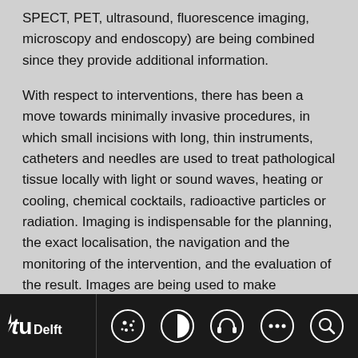SPECT, PET, ultrasound, fluorescence imaging, microscopy and endoscopy) are being combined since they provide additional information.
With respect to interventions, there has been a move towards minimally invasive procedures, in which small incisions with long, thin instruments, catheters and needles are used to treat pathological tissue locally with light or sound waves, heating or cooling, chemical cocktails, radioactive particles or radiation. Imaging is indispensable for the planning, the exact localisation, the navigation and the monitoring of the intervention, and the evaluation of the result. Images are being used to make  treatments patient-specific. CTs are used to construct patient-specific implants, for example, to generate moulds for operations and to calculate the
TU Delft [icons: cookie, contrast, headphones, more, search]